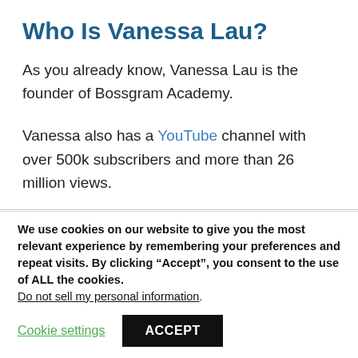Who Is Vanessa Lau?
As you already know, Vanessa Lau is the founder of Bossgram Academy.
Vanessa also has a YouTube channel with over 500k subscribers and more than 26 million views.
We use cookies on our website to give you the most relevant experience by remembering your preferences and repeat visits. By clicking “Accept”, you consent to the use of ALL the cookies.
Do not sell my personal information.
Cookie settings  ACCEPT